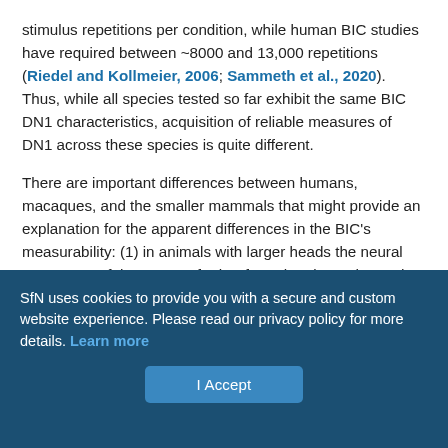stimulus repetitions per condition, while human BIC studies have required between ~8000 and 13,000 repetitions (Riedel and Kollmeier, 2006; Sammeth et al., 2020). Thus, while all species tested so far exhibit the same BIC DN1 characteristics, acquisition of reliable measures of DN1 across these species is quite different.
There are important differences between humans, macaques, and the smaller mammals that might provide an explanation for the apparent differences in the BIC's measurability: (1) in animals with larger heads the neural generators of the BIC are farther from the electrodes and (2) in different species the volume of the MNTB (Medial nucleus of the trapezoid body)-LSO nuclei is slightly smaller relative to the total auditory brainstem volume (Glendenning and
SfN uses cookies to provide you with a secure and custom website experience. Please read our privacy policy for more details. Learn more